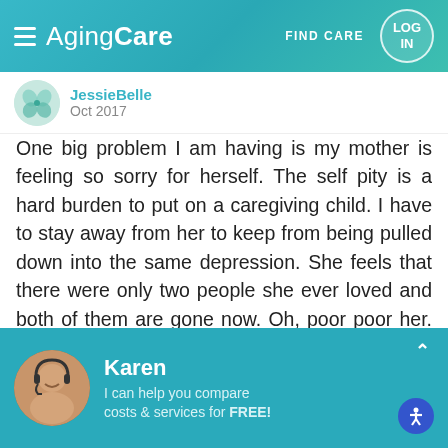AgingCare | FIND CARE | LOG IN
JessieBelle
Oct 2017
One big problem I am having is my mother is feeling so sorry for herself. The self pity is a hard burden to put on a caregiving child. I have to stay away from her to keep from being pulled down into the same depression. She feels that there were only two people she ever loved and both of them are gone now. Oh, poor poor her. It is really a ploy to try to solicit pity from me. Really, I am thinking she was blessed to have such a long life, but she has wasted
Karen
I can help you compare costs & services for FREE!